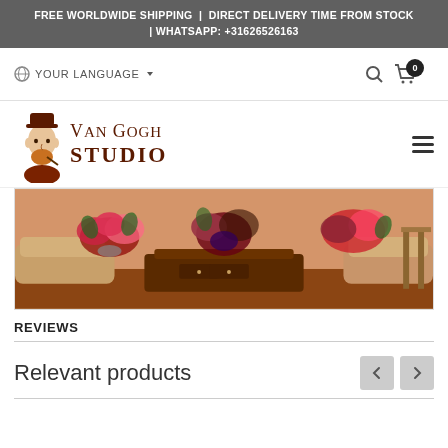FREE WORLDWIDE SHIPPING | DIRECT DELIVERY TIME FROM STOCK | WHATSAPP: +31626526163
YOUR LANGUAGE
[Figure (logo): Van Gogh Studio logo with illustrated portrait and text]
[Figure (photo): Interior scene with antique wooden furniture, sofas, and floral arrangements of red and pink flowers]
REVIEWS
Relevant products